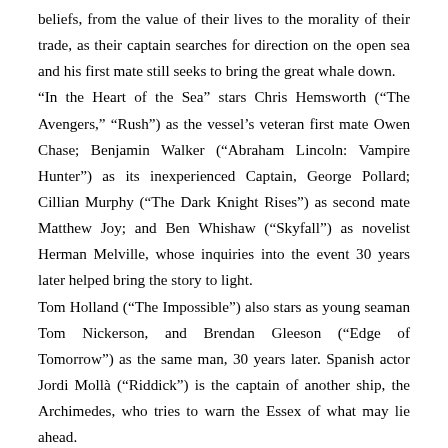beliefs, from the value of their lives to the morality of their trade, as their captain searches for direction on the open sea and his first mate still seeks to bring the great whale down.
“In the Heart of the Sea” stars Chris Hemsworth (“The Avengers,” “Rush”) as the vessel’s veteran first mate Owen Chase; Benjamin Walker (“Abraham Lincoln: Vampire Hunter”) as its inexperienced Captain, George Pollard; Cillian Murphy (“The Dark Knight Rises”) as second mate Matthew Joy; and Ben Whishaw (“Skyfall”) as novelist Herman Melville, whose inquiries into the event 30 years later helped bring the story to light.
Tom Holland (“The Impossible”) also stars as young seaman Tom Nickerson, and Brendan Gleeson (“Edge of Tomorrow”) as the same man, 30 years later. Spanish actor Jordi Mollà (“Riddick”) is the captain of another ship, the Archimedes, who tries to warn the Essex of what may lie ahead.
Howard directed from a screenplay by Charles Leavitt (“Blood Diamond”), story by Charles Leavitt and Rick Jaffa & Amanda Silver (“Rise of the Planet of the Apes”), based on In the Heart of the Sea: The Tragedy of the Whaleship Essex by Nathaniel Philbrick, winner of the 2000 National Book